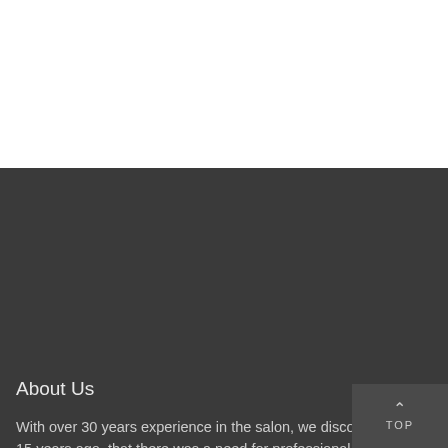About Us
With over 30 years experience in the salon, we discovered about 15 years ago, that there was a need for professional products that were effective, safe, economical and that you could see the results immediately. Because of that, we developed the Healthy Hair Line of Professional Hair Care Products. We invite you to use these products and experience what we have found. They will protect, shine, and restore hair to its natural beauty. Join us as we recreate naturally beautiful hair.